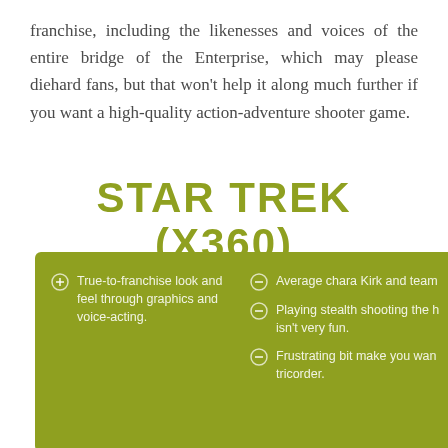franchise, including the likenesses and voices of the entire bridge of the Enterprise, which may please diehard fans, but that won't help it along much further if you want a high-quality action-adventure shooter game.
STAR TREK (X360)
True-to-franchise look and feel through graphics and voice-acting.
Average chara Kirk and team
Playing stealth shooting the h isn't very fun.
Frustrating bit make you wan tricorder.